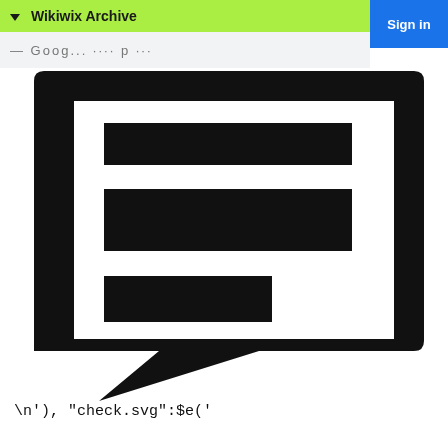Wikiwix Archive
[Figure (logo): Large black speech bubble / comment icon with three horizontal bars inside representing text lines]
\n'), "check.svg":$e('